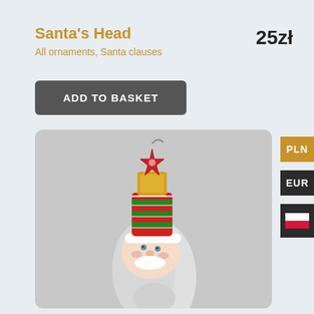Santa's Head
All ornaments, Santa clauses
25zł
ADD TO BASKET
[Figure (photo): A glass Christmas ornament shaped like Santa Claus's head with a colorful striped hat topped with a golden star decoration, on a gray background.]
PLN
EUR
[Figure (illustration): Polish flag icon — white top half, red bottom half]